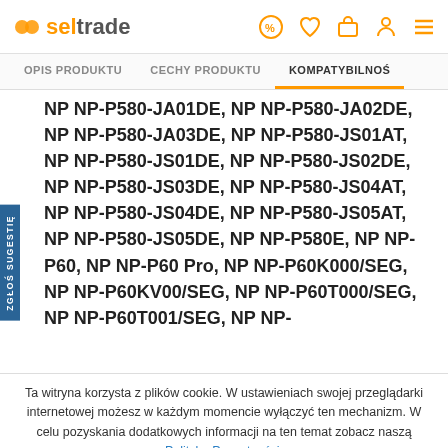seltrade — header with logo and icons
OPIS PRODUKTU | CECHY PRODUKTU | KOMPATYBILNOŚ
NP NP-P580-JA01DE, NP NP-P580-JA02DE, NP NP-P580-JA03DE, NP NP-P580-JS01AT, NP NP-P580-JS01DE, NP NP-P580-JS02DE, NP NP-P580-JS03DE, NP NP-P580-JS04AT, NP NP-P580-JS04DE, NP NP-P580-JS05AT, NP NP-P580-JS05DE, NP NP-P580E, NP NP-P60, NP NP-P60 Pro, NP NP-P60K000/SEG, NP NP-P60KV00/SEG, NP NP-P60T000/SEG, NP NP-P60T001/SEG, NP NP-
Ta witryna korzysta z plików cookie. W ustawieniach swojej przeglądarki internetowej możesz w każdym momencie wyłączyć ten mechanizm. W celu pozyskania dodatkowych informacji na ten temat zobacz naszą Politykę Prywatności.
Ukryj ten komunikat